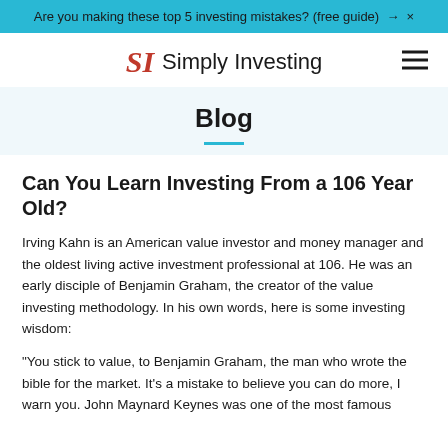Are you making these top 5 investing mistakes? (free guide) → ×
SI Simply Investing
Blog
Can You Learn Investing From a 106 Year Old?
Irving Kahn is an American value investor and money manager and the oldest living active investment professional at 106. He was an early disciple of Benjamin Graham, the creator of the value investing methodology. In his own words, here is some investing wisdom:
"You stick to value, to Benjamin Graham, the man who wrote the bible for the market. It's a mistake to believe you can do more, I warn you. John Maynard Keynes was one of the most famous economists in history. He was a genius, but he fo...